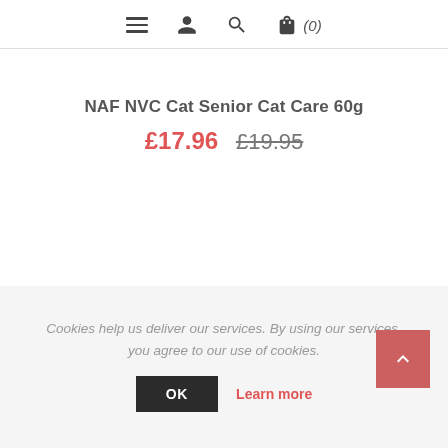Navigation bar with menu, user, search, and cart (0) icons
NAF NVC Cat Senior Cat Care 60g
£17.96  £19.95
NEWSLETTER
Cookies help us deliver our services. By using our services, you agree to our use of cookies.
OK  Learn more